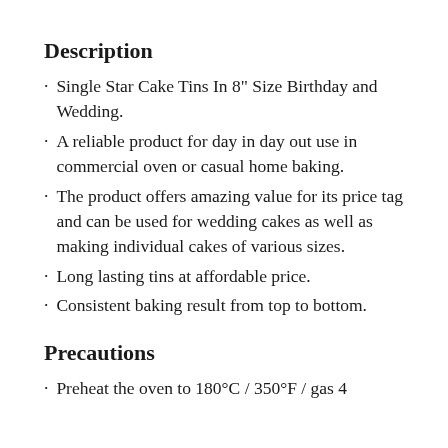Description
Single Star Cake Tins In 8" Size Birthday and Wedding.
A reliable product for day in day out use in commercial oven or casual home baking.
The product offers amazing value for its price tag and can be used for wedding cakes as well as making individual cakes of various sizes.
Long lasting tins at affordable price.
Consistent baking result from top to bottom.
Precautions
Preheat the oven to 180°C / 350°F / gas 4